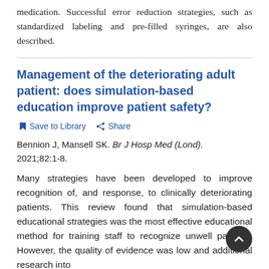medication. Successful error reduction strategies, such as standardized labeling and pre-filled syringes, are also described.
Management of the deteriorating adult patient: does simulation-based education improve patient safety?
Save to Library  Share
Bennion J, Mansell SK. Br J Hosp Med (Lond). 2021;82:1-8.
Many strategies have been developed to improve recognition of, and response, to clinically deteriorating patients. This review found that simulation-based educational strategies was the most effective educational method for training staff to recognize unwell patients. However, the quality of evidence was low and additional research into